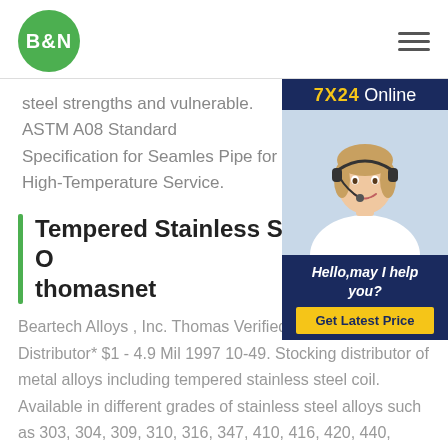B&N
steel strengths and vulnerable. ASTM A08 Standard Specification for Seamless Pipe for High-Temperature Service.
[Figure (infographic): 7X24 Online chat support advertisement with a customer service representative wearing a headset, text: Hello,may I help you? and a Get Latest Price button.]
Tempered Stainless Steel On thomasnet
Beartech Alloys , Inc. Thomas Verified. Placentia, CA Distributor* $1 - 4.9 Mil 1997 10-49. Stocking distributor of metal alloys including tempered stainless steel coil. Available in different grades of stainless steel alloys such as 303, 304, 309, 310, 316, 347, 410, 416, 420, 440, Duplex, 13-